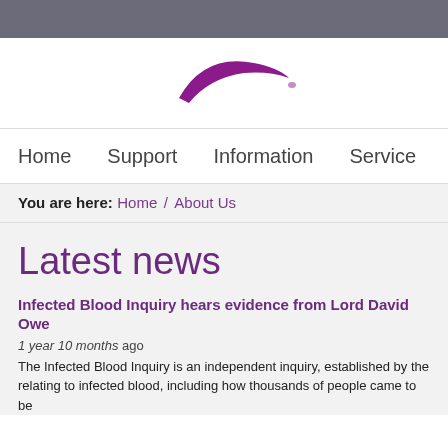[Figure (logo): Partial purple brush-stroke logo of an organisation, cropped at right edge]
Home  Support  Information  Service
You are here: Home / About Us
Latest news
Infected Blood Inquiry hears evidence from Lord David Owe
1 year 10 months ago
The Infected Blood Inquiry is an independent inquiry, established by the relating to infected blood, including how thousands of people came to be